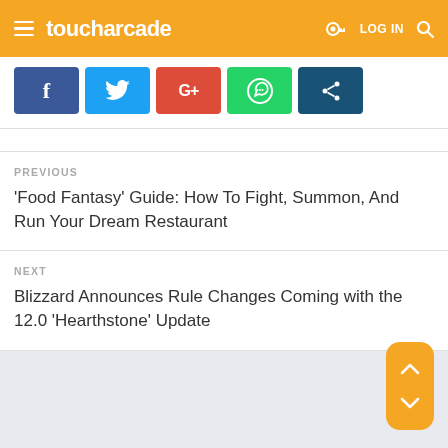toucharcade — LOG IN
[Figure (screenshot): Social sharing buttons: Facebook (blue), Twitter (light blue), Google+ (red), WhatsApp (green), Share (dark teal)]
PREVIOUS
'Food Fantasy' Guide: How To Fight, Summon, And Run Your Dream Restaurant
NEXT
Blizzard Announces Rule Changes Coming with the 12.0 'Hearthstone' Update